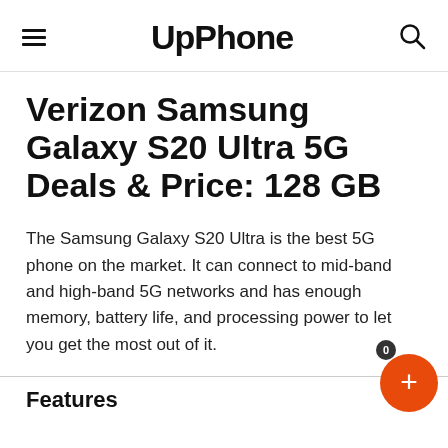UpPhone
Verizon Samsung Galaxy S20 Ultra 5G Deals & Price: 128 GB
The Samsung Galaxy S20 Ultra is the best 5G phone on the market. It can connect to mid-band and high-band 5G networks and has enough memory, battery life, and processing power to let you get the most out of it.
Features